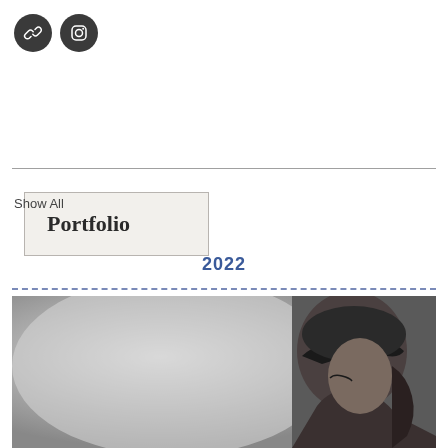[Figure (logo): Two dark circular icon buttons: a chain/link icon and an Instagram camera icon]
Portfolio
Show All
2022
[Figure (photo): Black and white photograph of a person wearing a baseball cap and glasses, viewed from the side/profile]